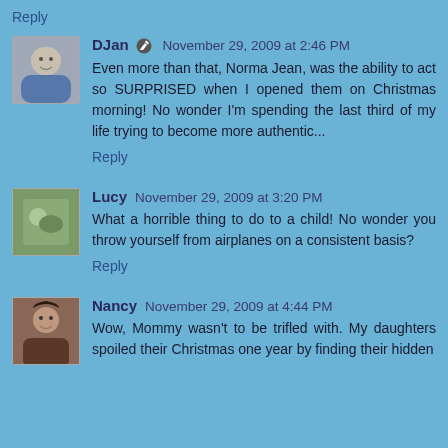Reply
DJan  November 29, 2009 at 2:46 PM
Even more than that, Norma Jean, was the ability to act so SURPRISED when I opened them on Christmas morning! No wonder I'm spending the last third of my life trying to become more authentic...
Reply
Lucy  November 29, 2009 at 3:20 PM
What a horrible thing to do to a child! No wonder you throw yourself from airplanes on a consistent basis?
Reply
Nancy  November 29, 2009 at 4:44 PM
Wow, Mommy wasn't to be trifled with. My daughters spoiled their Christmas one year by finding their hidden